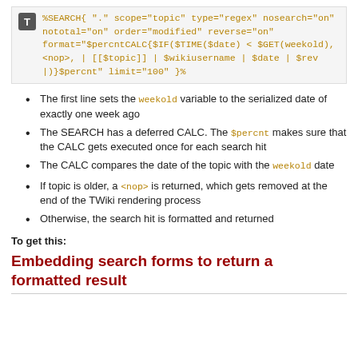%SEARCH{ "." scope="topic" type="regex" nosearch="on" nototal="on" order="modified" reverse="on" format="$percntCALC{$IF($TIME($date) < $GET(weekold), <nop>, | [[$topic]] | $wikiusername | $date | $rev |)}$percnt" limit="100" }%
The first line sets the weekold variable to the serialized date of exactly one week ago
The SEARCH has a deferred CALC. The $percnt makes sure that the CALC gets executed once for each search hit
The CALC compares the date of the topic with the weekold date
If topic is older, a <nop> is returned, which gets removed at the end of the TWiki rendering process
Otherwise, the search hit is formatted and returned
To get this:
Embedding search forms to return a formatted result